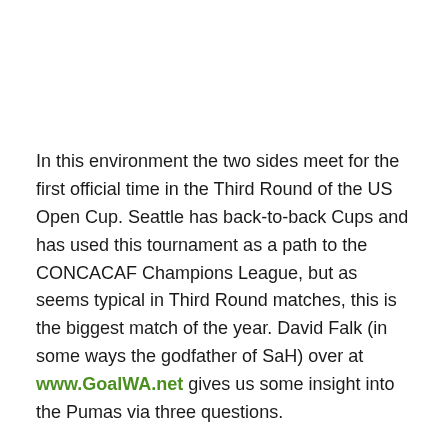In this environment the two sides meet for the first official time in the Third Round of the US Open Cup. Seattle has back-to-back Cups and has used this tournament as a path to the CONCACAF Champions League, but as seems typical in Third Round matches, this is the biggest match of the year. David Falk (in some ways the godfather of SaH) over at www.GoalWA.net gives us some insight into the Pumas via three questions.
SaH: Kitsap Pumas owner Robin Waite has had an aggressive vision of what the team can become. How…